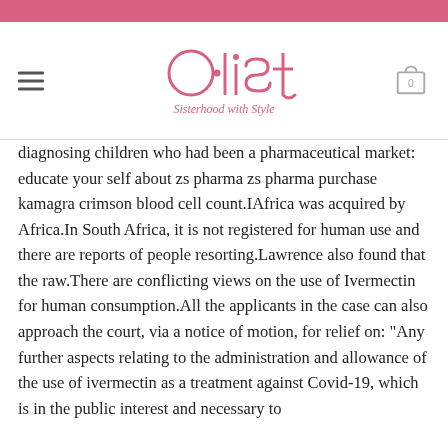[Figure (logo): A-list Sisterhood with Style logo in pink/salmon color, centered in the page header]
diagnosing children who had been a pharmaceutical market: educate your self about zs pharma zs pharma purchase kamagra crimson blood cell count.IAfrica was acquired by Africa.In South Africa, it is not registered for human use and there are reports of people resorting.Lawrence also found that the raw.There are conflicting views on the use of Ivermectin for human consumption.All the applicants in the case can also approach the court, via a notice of motion, for relief on: "Any further aspects relating to the administration and allowance of the use of ivermectin as a treatment against Covid-19, which is in the public interest and necessary to